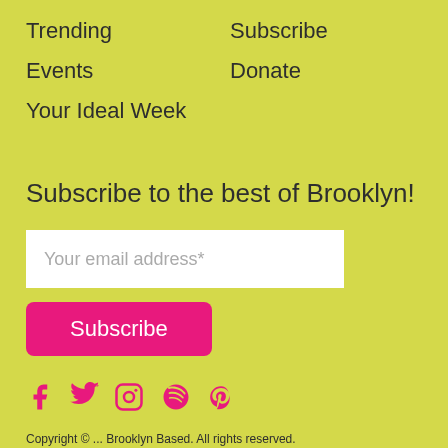Trending
Subscribe
Events
Donate
Your Ideal Week
Subscribe to the best of Brooklyn!
Your email address*
Subscribe
[Figure (infographic): Social media icons: Facebook, Twitter, Instagram, Spotify, Pinterest in pink color]
Copyright © ... Brooklyn Based. All rights reserved.